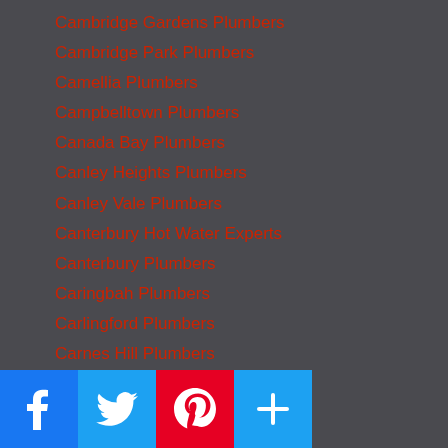Cambridge Gardens Plumbers
Cambridge Park Plumbers
Camellia Plumbers
Campbelltown Plumbers
Canada Bay Plumbers
Canley Heights Plumbers
Canley Vale Plumbers
Canterbury Hot Water Experts
Canterbury Plumbers
Caringbah Plumbers
Carlingford Plumbers
Carnes Hill Plumbers
Carramar Plumbers
Cartwright Plumbers
Castle Hill Plumbers
Castlereagh Plumbers
Casula Plumbers
Cecil Hills Plumbers
Chester Hill Plumbers
[Figure (other): Social media sharing buttons: Facebook, Twitter, Pinterest, and Add/Share button]